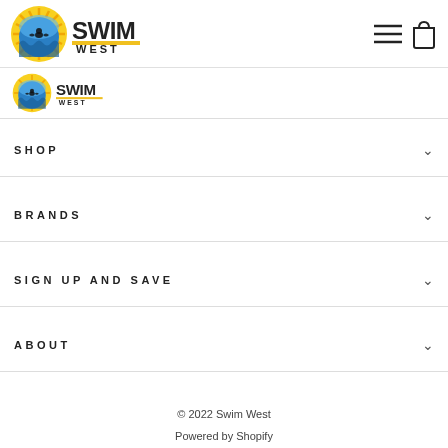Swim West — navigation header with logo, menu icon, and cart icon
[Figure (logo): Swim West logo: circular sun/wave emblem with swimmer silhouette, next to bold text 'SWIM WEST' with yellow underline]
[Figure (logo): Smaller Swim West secondary logo (scrolled state)]
SHOP
BRANDS
SIGN UP AND SAVE
ABOUT
© 2022 Swim West
Powered by Shopify